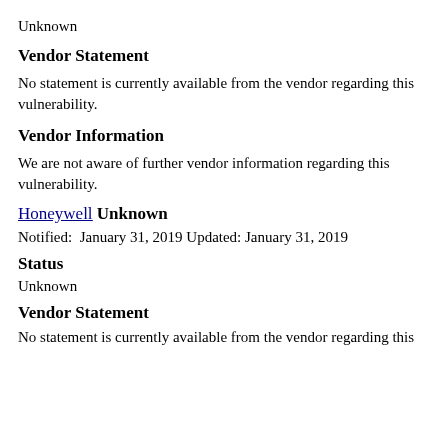Unknown
Vendor Statement
No statement is currently available from the vendor regarding this vulnerability.
Vendor Information
We are not aware of further vendor information regarding this vulnerability.
Honeywell Unknown
Notified:  January 31, 2019 Updated: January 31, 2019
Status
Unknown
Vendor Statement
No statement is currently available from the vendor regarding this